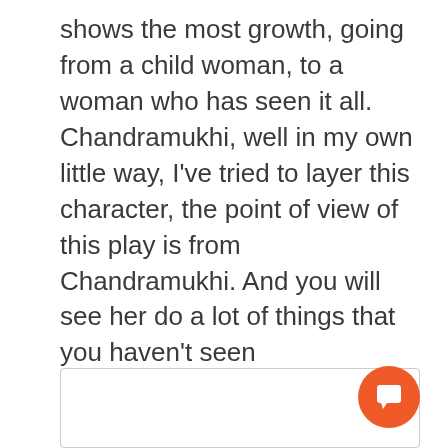shows the most growth, going from a child woman, to a woman who has seen it all.
Chandramukhi, well in my own little way, I've tried to layer this character, the point of view of this play is from Chandramukhi. And you will see her do a lot of things that you haven't seen Chandramukhi do before. My issue with the other Chandramukhi is that all of them were very weepy, which was not really the case with the original Chandramukhi.
[Figure (other): Comment input box with an orange chat/comment button in the bottom right corner]